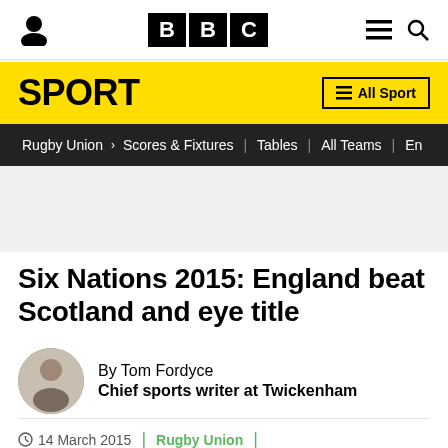[Figure (screenshot): BBC website header with person icon on left, BBC logo in center (three black boxes with B, B, C), hamburger menu and search icon on right]
SPORT | All Sport
Rugby Union > Scores & Fixtures | Tables | All Teams | En
Six Nations 2015: England beat Scotland and eye title
By Tom Fordyce
Chief sports writer at Twickenham
14 March 2015 | Rugby Union